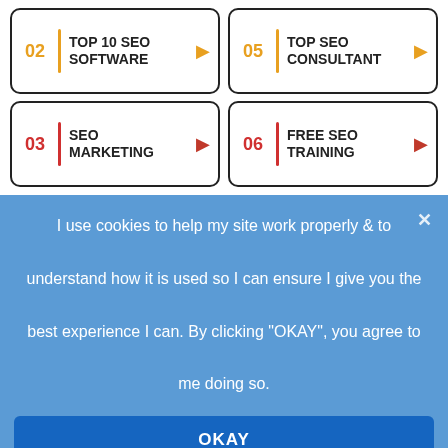02 | TOP 10 SEO SOFTWARE
05 | TOP SEO CONSULTANT
03 | SEO MARKETING
06 | FREE SEO TRAINING
I use cookies to help my site work properly & to understand how it is used so I can ensure I give you the best experience I can. By clicking "OKAY", you agree to me doing so.
OKAY
PRIVACY POLICY & COOKIES